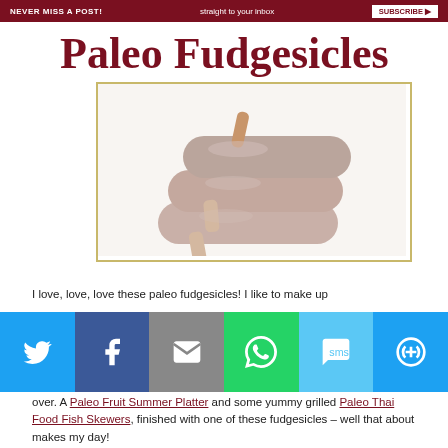NEVER MISS A POST!  straight to your inbox  SUBSCRIBE
Paleo Fudgesicles
[Figure (photo): Three chocolate fudgesicles stacked on top of each other with wooden sticks, on a white background, inside a gold-bordered frame]
[Figure (infographic): Social sharing bar with Twitter, Facebook, Email, WhatsApp, SMS, and More buttons]
I love, love, love these paleo fudgesicles! I like to make up over. A Paleo Fruit Summer Platter and some yummy grilled Paleo Thai Food Fish Skewers, finished with one of these fudgesicles – well that about makes my day!